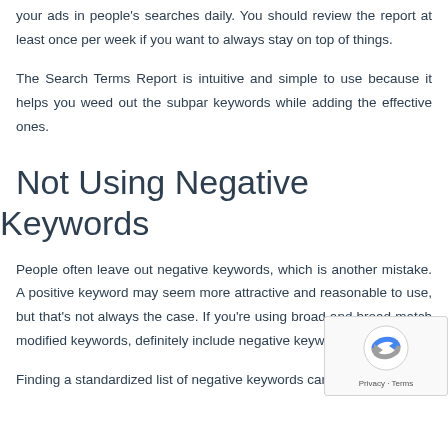your ads in people's searches daily. You should review the report at least once per week if you want to always stay on top of things.
The Search Terms Report is intuitive and simple to use because it helps you weed out the subpar keywords while adding the effective ones.
Not Using Negative Keywords
People often leave out negative keywords, which is another mistake. A positive keyword may seem more attractive and reasonable to use, but that's not always the case. If you're using broad and broad match modified keywords, definitely include negative keywords.
Finding a standardized list of negative keywords can be